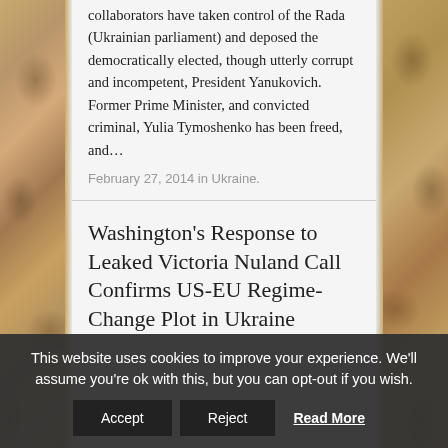collaborators have taken control of the Rada (Ukrainian parliament) and deposed the democratically elected, though utterly corrupt and incompetent, President Yanukovich. Former Prime Minister, and convicted criminal, Yulia Tymoshenko has been freed, and…
February 27, 2014 in Ukraine.
Washington's Response to Leaked Victoria Nuland Call Confirms US-EU Regime-Change Plot in Ukraine
This website uses cookies to improve your experience. We'll assume you're ok with this, but you can opt-out if you wish. Accept Reject Read More